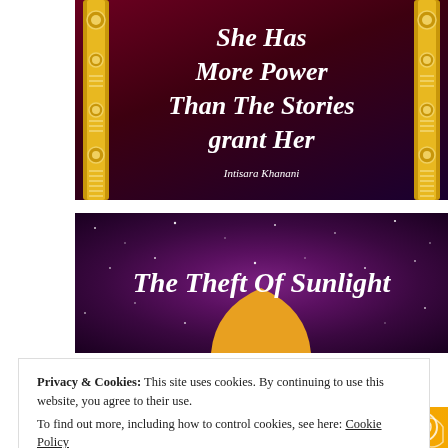[Figure (illustration): Book cover with dark red/maroon background and gold decorative pillars. Title reads 'She Has More Power Than The Stories grant Her' in white italic script. Author name 'Intisara Khanani' at bottom in italic white text.]
[Figure (illustration): Book cover with dark purple/magenta starry background. Title reads 'The Theft Of Sunlight' in white italic script. A gold dome/arch shape visible at bottom center.]
Privacy & Cookies: This site uses cookies. By continuing to use this website, you agree to their use.
To find out more, including how to control cookies, see here: Cookie Policy
[Figure (illustration): Partial view of a third book cover with gold/orange background, showing partial text 'I Assure' in white italic script with decorative elements.]